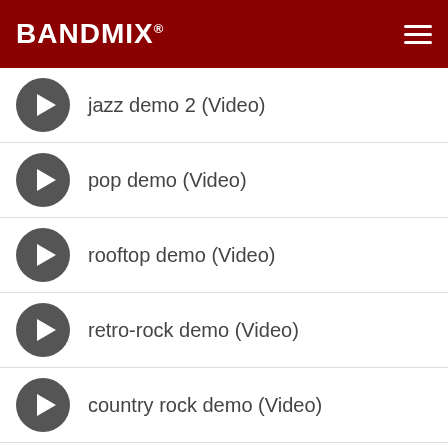BANDMIX®
jazz demo 2 (Video)
pop demo (Video)
rooftop demo (Video)
retro-rock demo (Video)
country rock demo (Video)
funk rock demo (Video)
VIDEOS